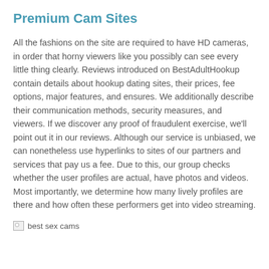Premium Cam Sites
All the fashions on the site are required to have HD cameras, in order that horny viewers like you possibly can see every little thing clearly. Reviews introduced on BestAdultHookup contain details about hookup dating sites, their prices, fee options, major features, and ensures. We additionally describe their communication methods, security measures, and viewers. If we discover any proof of fraudulent exercise, we'll point out it in our reviews. Although our service is unbiased, we can nonetheless use hyperlinks to sites of our partners and services that pay us a fee. Due to this, our group checks whether the user profiles are actual, have photos and videos. Most importantly, we determine how many lively profiles are there and how often these performers get into video streaming.
[Figure (photo): Broken image placeholder labeled 'best sex cams']